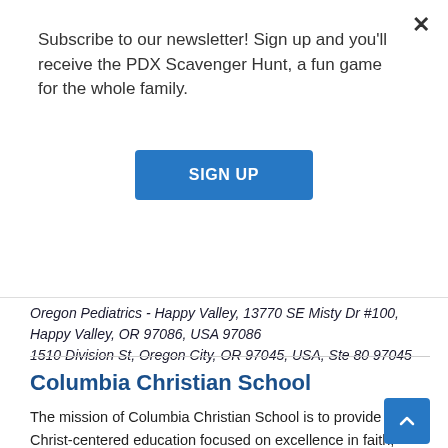Subscribe to our newsletter! Sign up and you'll receive the PDX Scavenger Hunt, a fun game for the whole family.
SIGN UP
Oregon Pediatrics - Happy Valley, 13770 SE Misty Dr #100, Happy Valley, OR 97086, USA 97086
1510 Division St, Oregon City, OR 97045, USA, Ste 80 97045
Columbia Christian School
The mission of Columbia Christian School is to provide a Christ-centered education focused on excellence in faith, character, and academics to students from Pre-Kindergarten through 12th[...]